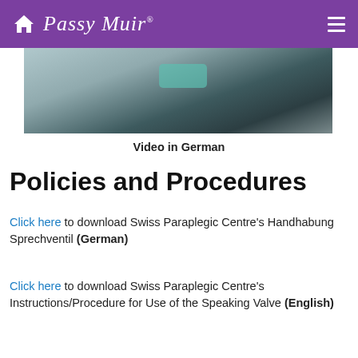Passy Muir
[Figure (photo): Close-up photo of a patient with a tracheostomy speaking valve being handled, with medical tubing visible]
Video in German
Policies and Procedures
Click here to download Swiss Paraplegic Centre's Handhabung Sprechventil (German)
Click here to download Swiss Paraplegic Centre's Instructions/Procedure for Use of the Speaking Valve (English)